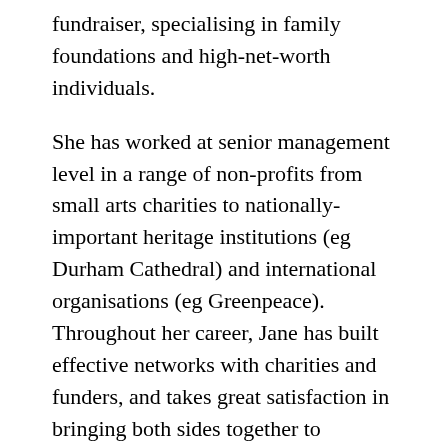fundraiser, specialising in family foundations and high-net-worth individuals.
She has worked at senior management level in a range of non-profits from small arts charities to nationally-important heritage institutions (eg Durham Cathedral) and international organisations (eg Greenpeace). Throughout her career, Jane has built effective networks with charities and funders, and takes great satisfaction in bringing both sides together to engender positive social change.